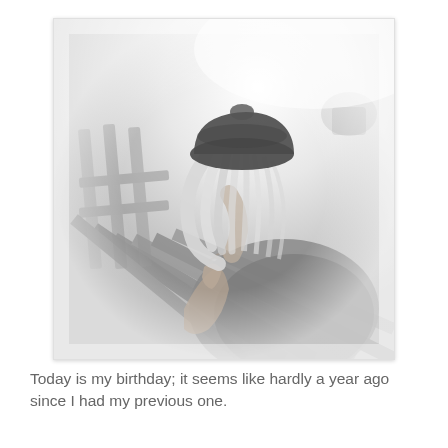[Figure (photo): Black and white photograph of an elderly person with white hair and a dark beret, head bowed down resting on their hand, sitting at a wooden outdoor table. The image has a faded, slightly overexposed look with a white border giving it a Polaroid-like appearance.]
Today is my birthday; it seems like hardly a year ago since I had my previous one.